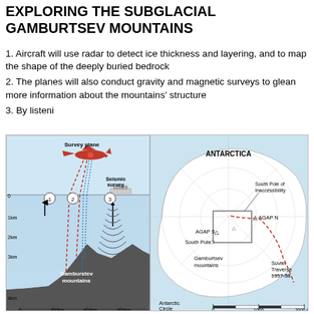EXPLORING THE SUBGLACIAL GAMBURTSEV MOUNTAINS
1. Aircraft will use radar to detect ice thickness and layering, and to map the shape of the deeply buried bedrock
2. The planes will also conduct gravity and magnetic surveys to glean more information about the mountains' structure
3. By listeni
[Figure (infographic): Two-panel infographic. Left panel: cross-section diagram showing a survey plane above ice, with dashed red lines for radar, dotted blue lines for gravity/magnetic, and seismic survey markers. Labels: Survey plane, Seismic survey, numbered circles 1-3, Gamburstev mountains, depth markers 0-4km, distance markers 0-600km. Right panel: Map of Antarctica showing the Gamburtsev mountains region, AGAP S and AGAP N survey points, South Pole, South Pole of Inaccessibility, Soviet Traverse 1957-58 route (red dashed), Antarctic Circle, and scale bar 0-2000 Km.]